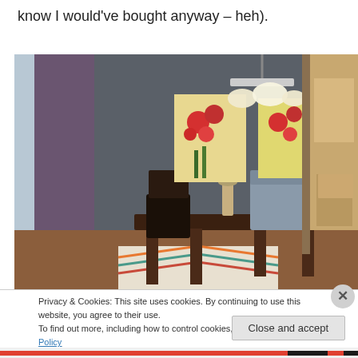know I would've bought anyway – heh).
[Figure (photo): Interior dining room photo showing a dark wood table with chairs, two floral paintings on a gray wall, a pendant light fixture, a vase with flowers on the table, and a kitchen visible through a doorway on the right. A colorful chevron rug is on the floor.]
Privacy & Cookies: This site uses cookies. By continuing to use this website, you agree to their use.
To find out more, including how to control cookies, see here: Cookie Policy
Close and accept